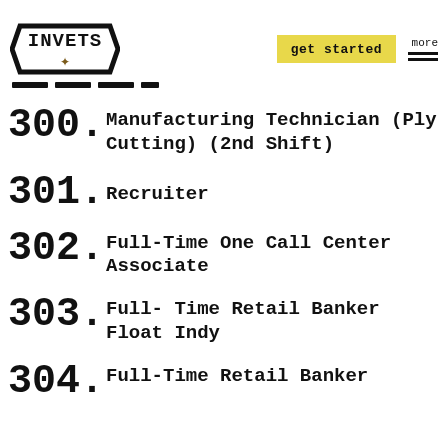INVETS | get started | more
300. Manufacturing Technician (Ply Cutting) (2nd Shift)
301. Recruiter
302. Full-Time One Call Center Associate
303. Full- Time Retail Banker Float Indy
304. (partial — cut off)